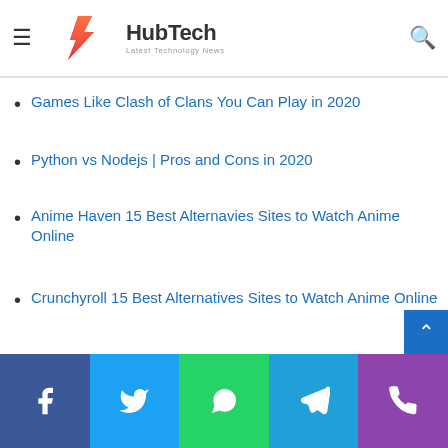HubTech — Latest Technology News
recommended articles like:
Games Like Clash of Clans You Can Play in 2020
Python vs Nodejs | Pros and Cons in 2020
Anime Haven 15 Best Alternavies Sites to Watch Anime Online
Crunchyroll 15 Best Alternatives Sites to Watch Anime Online
Top 10 Best CPU Temperature Monitor Tools for